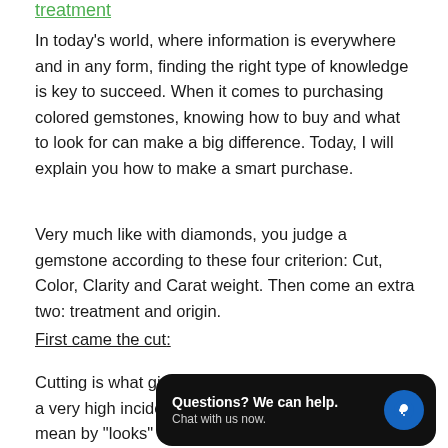treatment
In today's world, where information is everywhere and in any form, finding the right type of knowledge is key to succeed. When it comes to purchasing colored gemstones, knowing how to buy and what to look for can make a big difference. Today, I will explain you how to make a smart purchase.
Very much like with diamonds, you judge a gemstone according to these four criterion: Cut, Color, Clarity and Carat weight. Then come an extra two: treatment and origin.
First came the cut:
Cutting is what gives the stone its a very high incidence on the way mean by "looks" is whether the stone will have brilliance or